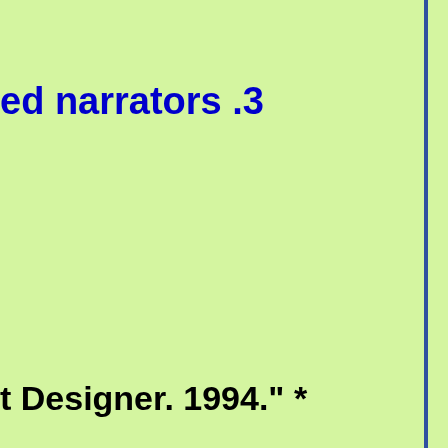ed narrators .3
t Designer. 1994." *